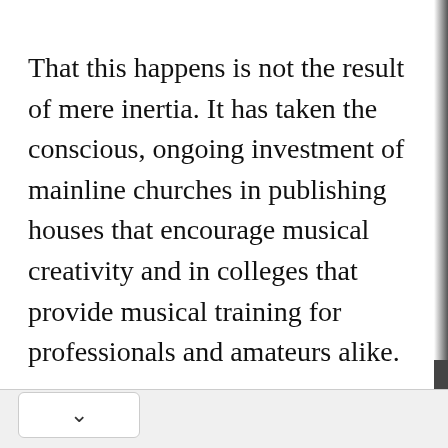That this happens is not the result of mere inertia. It has taken the conscious, ongoing investment of mainline churches in publishing houses that encourage musical creativity and in colleges that provide musical training for professionals and amateurs alike.